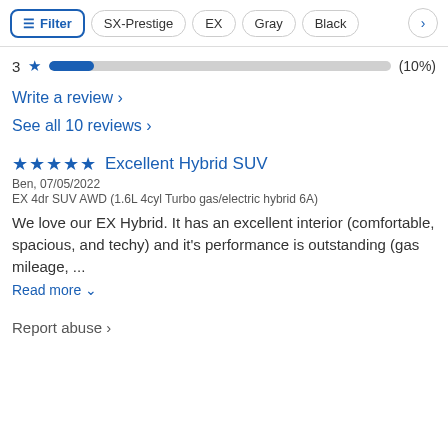[Figure (screenshot): Filter bar with buttons: Filter (with icon), SX-Prestige, EX, Gray, Black, and a right arrow chevron button]
3 ★ (10%) — rating bar showing 3 stars at 10%
Write a review >
See all 10 reviews >
★★★★★ Excellent Hybrid SUV
Ben, 07/05/2022
EX 4dr SUV AWD (1.6L 4cyl Turbo gas/electric hybrid 6A)
We love our EX Hybrid. It has an excellent interior (comfortable, spacious, and techy) and it's performance is outstanding (gas mileage, ...
Read more ∨
Report abuse >